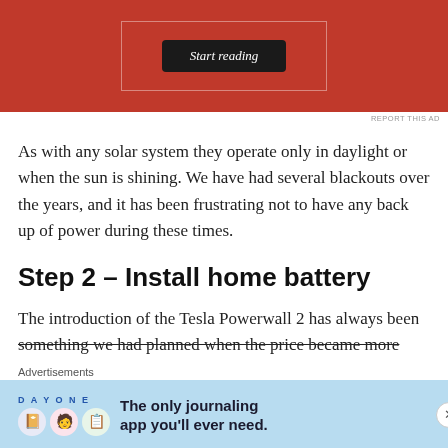[Figure (screenshot): Red advertisement banner with 'Start reading' button on dark background]
REPORT THIS AD
As with any solar system they operate only in daylight or when the sun is shining. We have had several blackouts over the years, and it has been frustrating not to have any back up of power during these times.
Step 2 – Install home battery
The introduction of the Tesla Powerwall 2 has always been something we had planned when the price became more
Advertisements
[Figure (screenshot): Day One journaling app advertisement banner with blue background and text 'The only journaling app you'll ever need.']
REPORT THIS AD